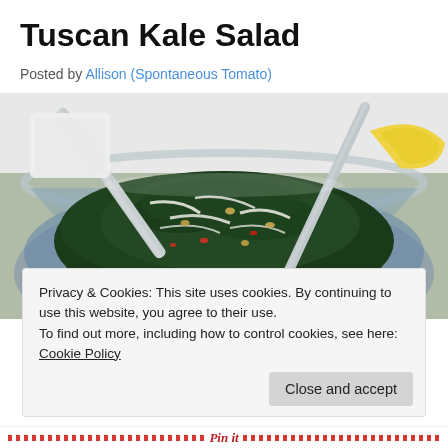Tuscan Kale Salad
Posted by Allison (Spontaneous Tomato)
[Figure (photo): A glass bowl filled with Tuscan kale salad, tossed with shredded cheese, pine nuts, and red peppers, with two large serving spoons. A lemon wedge is visible in the background.]
Privacy & Cookies: This site uses cookies. By continuing to use this website, you agree to their use.
To find out more, including how to control cookies, see here: Cookie Policy
Close and accept